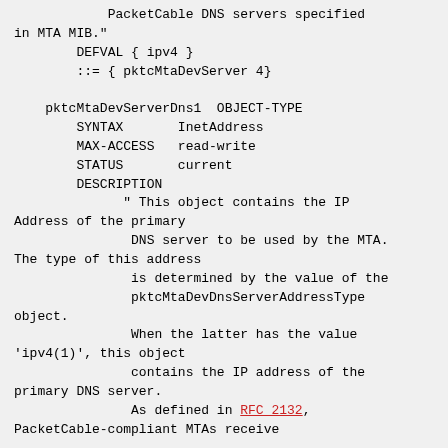PacketCable DNS servers specified
in MTA MIB."
        DEFVAL { ipv4 }
        ::= { pktcMtaDevServer 4}

    pktcMtaDevServerDns1  OBJECT-TYPE
        SYNTAX       InetAddress
        MAX-ACCESS   read-write
        STATUS       current
        DESCRIPTION
              " This object contains the IP Address of the primary
               DNS server to be used by the MTA. The type of this address
               is determined by the value of the
               pktcMtaDevDnsServerAddressType
object.
               When the latter has the value 'ipv4(1)', this object
               contains the IP address of the
primary DNS server.
               As defined in RFC 2132,
PacketCable-compliant MTAs receive